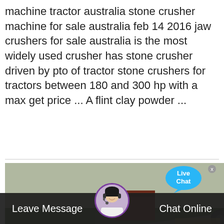machine tractor australia stone crusher machine for sale australia feb 14 2016 jaw crushers for sale australia is the most widely used crusher has stone crusher driven by pto of tractor stone crushers for tractors between 180 and 300 hp with a max get price ... A flint clay powder ...
[Figure (photo): Industrial stone crusher / conveyor machinery equipment photographed outdoors at a quarry or construction site. Large yellow machinery with conveyor belts visible. Live Chat bubble overlay in top right corner.]
Leave Message
Chat Online